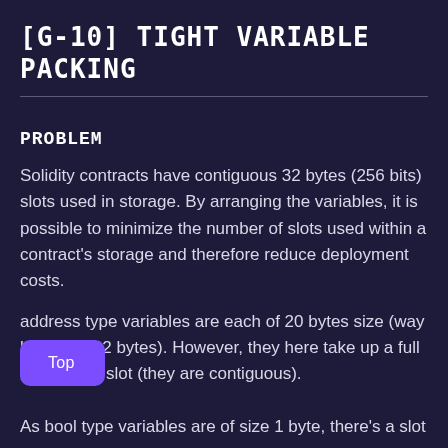[G-10] TIGHT VARIABLE PACKING
PROBLEM
Solidity contracts have contiguous 32 bytes (256 bits) slots used in storage. By arranging the variables, it is possible to minimize the number of slots used within a contract's storage and therefore reduce deployment costs.
address type variables are each of 20 bytes size (way less than 32 bytes). However, they here take up a full 32 bytes slot (they are contiguous).
As bool type variables are of size 1 byte, there's a slot